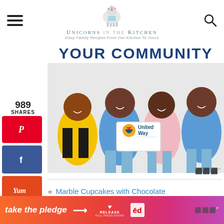Unicorns in the Kitchen — Easy Family Recipes From Our Kitchen To Yours
YOUR COMMUNITY
[Figure (photo): Four young adults sitting together smiling, with a United Way logo overlay]
989 SHARES
[Figure (logo): Pinterest share button]
[Figure (logo): Facebook share button]
[Figure (logo): Yummly share button]
« Marble Cupcakes with Chocolate
[Figure (infographic): Take the pledge banner ad with Release branding]